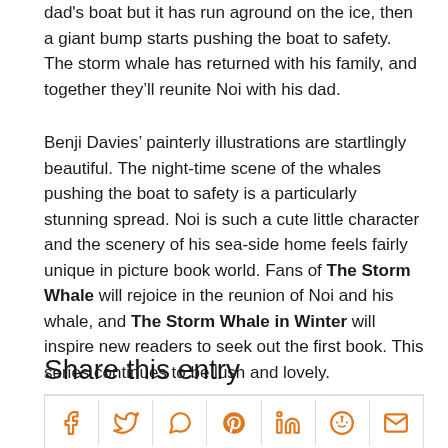dad's boat but it has run aground on the ice, then a giant bump starts pushing the boat to safety. The storm whale has returned with his family, and together they'll reunite Noi with his dad.
Benji Davies' painterly illustrations are startlingly beautiful. The night-time scene of the whales pushing the boat to safety is a particularly stunning spread. Noi is such a cute little character and the scenery of his sea-side home feels fairly unique in picture book world. Fans of The Storm Whale will rejoice in the reunion of Noi and his whale, and The Storm Whale in Winter will inspire new readers to seek out the first book. This series continues to be lush and lovely.
Share this entry
[Figure (other): Row of social media share icons: Facebook, Twitter, WhatsApp, Pinterest, LinkedIn, Reddit, Email — all in orange color]